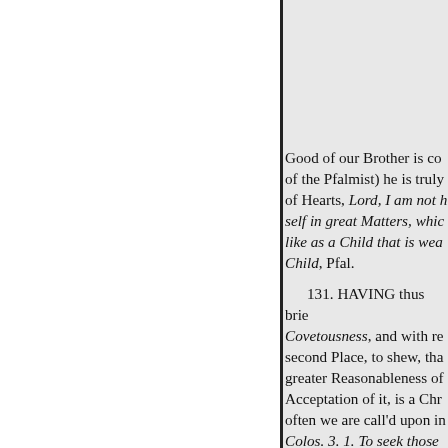Good of our Brother is co of the Pfalmist) he is truly of Hearts, Lord, I am not h self in great Matters, whic like as a Child that is wea Child, Pfal.

131. HAVING thus brie Covetousness, and with re second Place, to shew, tha greater Reasonableness of Acceptation of it, is a Chr often we are call'd upon in Colos. 3. 1. To seek those not on things of the earth; which is reckoned inordin is idolatry. Again, We are both our Treasure and our very Enjoyment of any We the Enjoyment, then certai